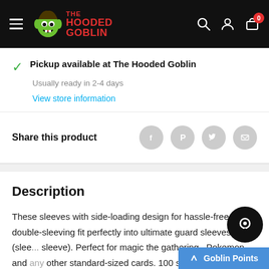The Hooded Goblin — navigation header with hamburger menu, logo, search, account, and cart (0) icons
Pickup available at The Hooded Goblin
Usually ready in 2-4 days
View store information
Share this product
Description
These sleeves with side-loading design for hassle-free double-sleeving fit perfectly into ultimate guard sleeves (sleeve-in-sleeve). Perfect for magic the gathering , Pokemon and any other standard-sized cards. 100 sleeves pe...